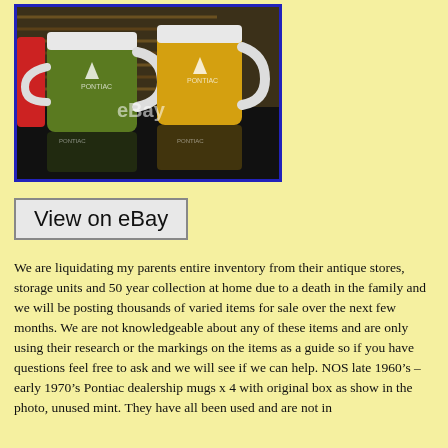[Figure (photo): Photo of colorful vintage Pontiac dealership mugs (green and yellow) with white handles and interiors, with eBay watermark, displayed on a reflective surface with a wicker background.]
View on eBay
We are liquidating my parents entire inventory from their antique stores, storage units and 50 year collection at home due to a death in the family and we will be posting thousands of varied items for sale over the next few months. We are not knowledgeable about any of these items and are only using their research or the markings on the items as a guide so if you have questions feel free to ask and we will see if we can help. NOS late 1960’s – early 1970’s Pontiac dealership mugs x 4 with original box as show in the photo, unused mint. They have all been used and are not in